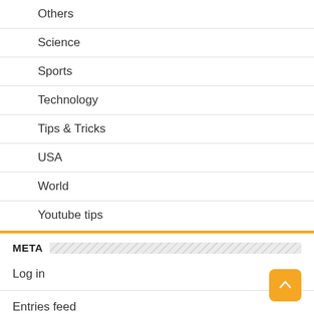Others
Science
Sports
Technology
Tips & Tricks
USA
World
Youtube tips
META
Log in
Entries feed
Comments feed
WordPress.org